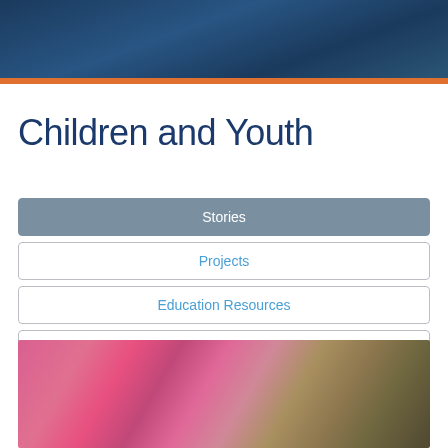[Figure (photo): Dark blue header photo background, outdoor scene]
Children and Youth
Stories
Projects
Education Resources
Pulitzer Center Updates
[Figure (photo): Close-up photo of a young child wearing pink patterned clothing]